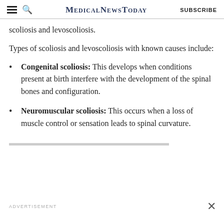MedicalNewsToday | SUBSCRIBE
scoliosis and levoscoliosis.
Types of scoliosis and levoscoliosis with known causes include:
Congenital scoliosis: This develops when conditions present at birth interfere with the development of the spinal bones and configuration.
Neuromuscular scoliosis: This occurs when a loss of muscle control or sensation leads to spinal curvature.
ADVERTISEMENT